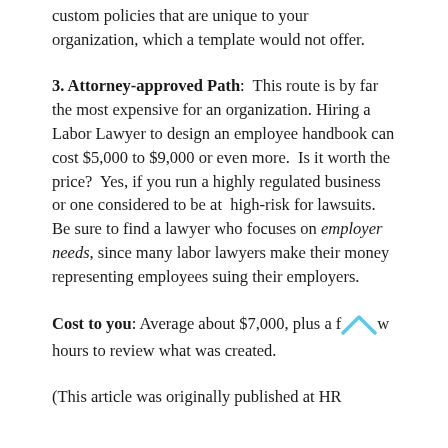custom policies that are unique to your organization, which a template would not offer.
3. Attorney-approved Path: This route is by far the most expensive for an organization. Hiring a Labor Lawyer to design an employee handbook can cost $5,000 to $9,000 or even more. Is it worth the price? Yes, if you run a highly regulated business or one considered to be at high-risk for lawsuits. Be sure to find a lawyer who focuses on employer needs, since many labor lawyers make their money representing employees suing their employers.
Cost to you: Average about $7,000, plus a few hours to review what was created.
(This article was originally published at HR